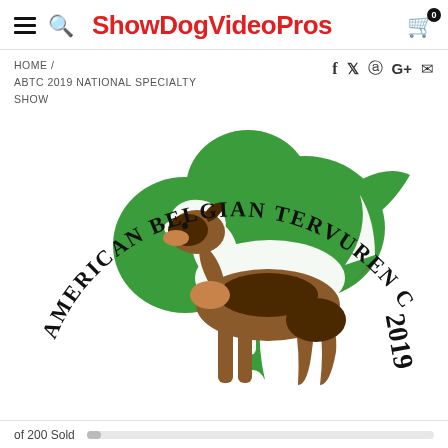ShowDogVideoPros
HOME / ABTC 2019 NATIONAL SPECIALTY SHOW
[Figure (logo): American Belgian Tervuren Club logo featuring a Belgian Tervuren dog in brown/tan coloring standing in front of a large green shamrock/clover shape. Text arching around the top reads 'AMERICAN BELGIAN TERVUREN CLUB' and '2019' appears on the right side.]
of 200 Sold